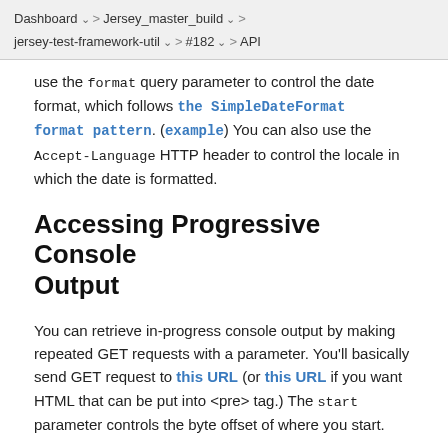Dashboard > Jersey_master_build > jersey-test-framework-util > #182 > API
use the format query parameter to control the date format, which follows the SimpleDateFormat format pattern. (example) You can also use the Accept-Language HTTP header to control the locale in which the date is formatted.
Accessing Progressive Console Output
You can retrieve in-progress console output by making repeated GET requests with a parameter. You'll basically send GET request to this URL (or this URL if you want HTML that can be put into <pre> tag.) The start parameter controls the byte offset of where you start.
The response will contain a chunk of the console output, as well as the X-Text-Size header that represents the bytes offset of the response fills. This lets you use progressive...